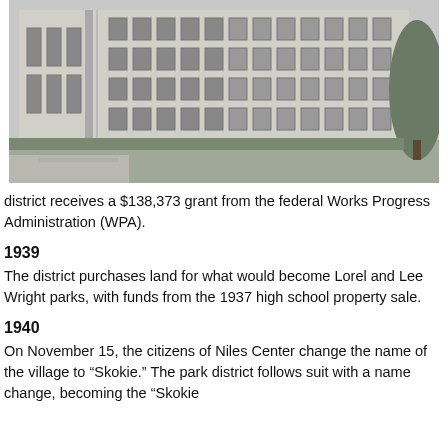[Figure (photo): Black and white photograph of a large multi-story school or civic building with rows of windows, viewed from outside with a lawn in the foreground and trees on the right.]
district receives a $138,373 grant from the federal Works Progress Administration (WPA).
1939
The district purchases land for what would become Lorel and Lee Wright parks, with funds from the 1937 high school property sale.
1940
On November 15, the citizens of Niles Center change the name of the village to “Skokie.” The park district follows suit with a name change, becoming the “Skokie